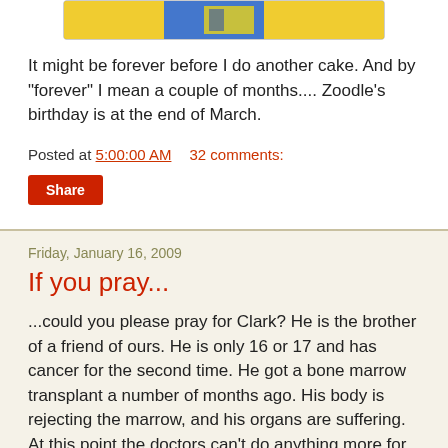[Figure (photo): Partial view of a decorated cake with blue and yellow colors, shown cropped at top of page]
It might be forever before I do another cake. And by "forever" I mean a couple of months.... Zoodle's birthday is at the end of March.
Posted at 5:00:00 AM    32 comments:
Share
Friday, January 16, 2009
If you pray...
...could you please pray for Clark?  He is the brother of a friend of ours.  He is only 16 or 17 and has cancer for the second time.  He got a bone marrow transplant a number of months ago.  His body is rejecting the marrow, and his organs are suffering.  At this point the doctors can't do anything more for him.
We are pleading with God to heal his body completely.  We